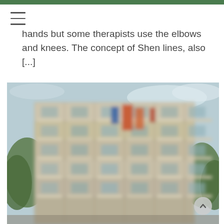hands but some therapists use the elbows and knees. The concept of Shen lines, also [...]
READ MORE
[Figure (photo): Blurred photograph of a dense multi-story residential apartment building with many balconies, green trees visible on the sides, and colorful laundry or decorations on balconies. Urban architecture scene.]